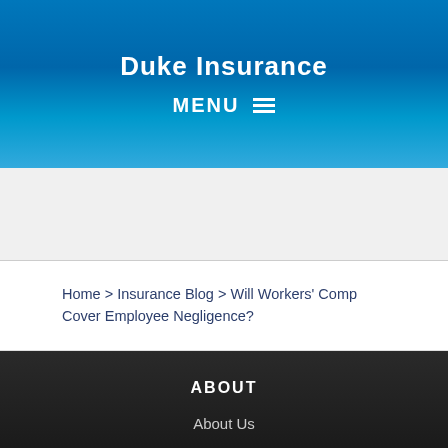Duke Insurance
MENU ≡
[Figure (other): Advertisement or placeholder banner area]
Home > Insurance Blog > Will Workers' Comp Cover Employee Negligence?
ABOUT
About Us